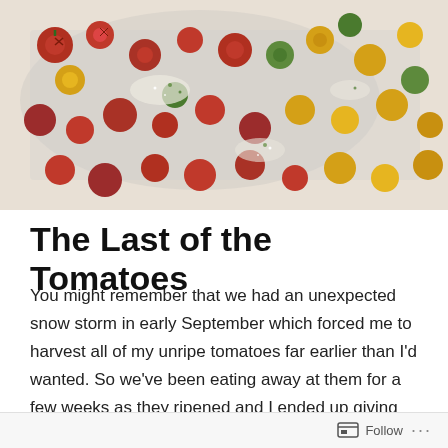[Figure (photo): Overhead photo of roasted cherry tomatoes in various colors — red, yellow, and green — spread across a white baking sheet with herbs and seasoning.]
The Last of the Tomatoes
You might remember that we had an unexpected snow storm in early September which forced me to harvest all of my unripe tomatoes far earlier than I'd wanted. So we've been eating away at them for a few weeks as they ripened and I ended up giving away quite a few, but we still had lots left over. They'd all ripened indoors and were sitting in cardboard boxes in the corner of my dining room up until a couple of hours ago. Some were even starting to resemble
Follow